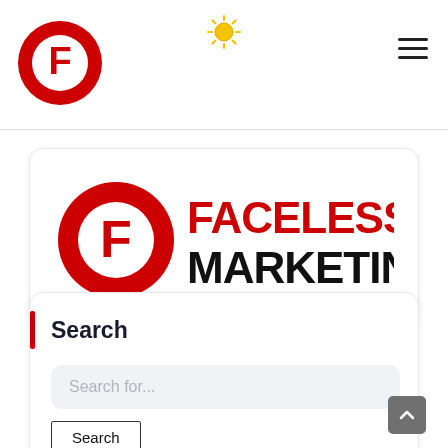[Figure (logo): Faceless Marketing circular F logo in red and white, used in navigation bar]
[Figure (other): Yellow sun/gear icon centered in the navigation bar]
[Figure (other): Hamburger menu icon (three horizontal lines) on right side of navigation bar]
[Figure (logo): Faceless Marketing full logo: red circular F icon on left, FACELESS in red bold text and MARKETING in black bold text on right, inside a rounded white card]
Search
Search for...
Search